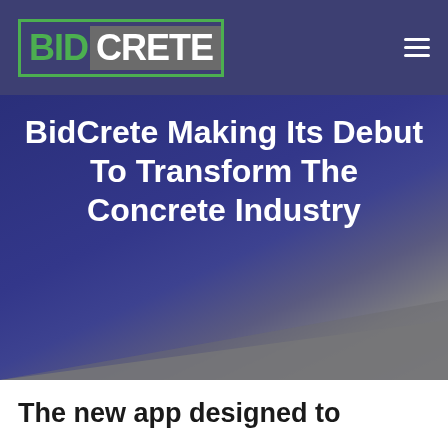[Figure (logo): BidCrete logo: 'BID' in green bold text inside a green-bordered box, 'CRETE' in white bold text on a gray background, forming the word BIDCRETE]
BidCrete Making Its Debut To Transform The Concrete Industry
The new app designed to